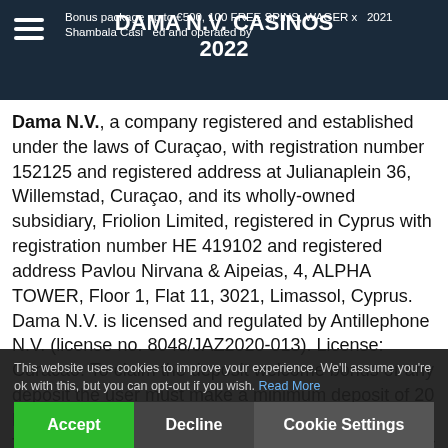DAMA N.V. CASINOS 2022
Dama N.V., a company registered and established under the laws of Curaçao, with registration number 152125 and registered address at Julianaplein 36, Willemstad, Curaçao, and its wholly-owned subsidiary, Friolion Limited, registered in Cyprus with registration number HE 419102 and registered address Pavlou Nirvana & Aipeias, 4, ALPHA TOWER, Floor 1, Flat 11, 3021, Limassol, Cyprus. Dama N.V. is licensed and regulated by Antillephone N.V. (license no. 8048/JAZ2020-013). License: Curacao. To claim the deposit welcome bonus or any deposit the user must make a minimum deposit of 20 EUR or equivalent (*20) (unless otherwise specified). To withdraw winnings from no deposit bonus the user must make a minimum deposit of 20 EUR or equivalent (*20) (unless otherwise specified). All bonuses (unless otherwise specified) need to be wagered 50 (fifty) times before the funds...
This website uses cookies to improve your experience. We'll assume you're ok with this, but you can opt-out if you wish. Read More
Accept | Decline | Cookie Settings